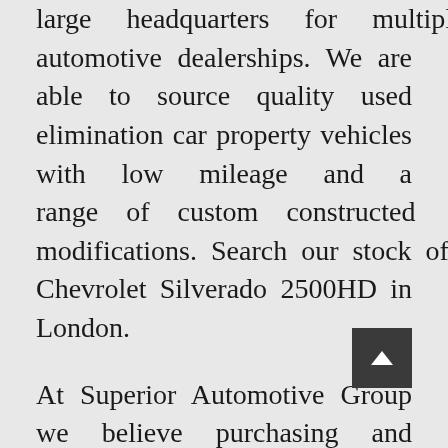large headquarters for multiple automotive dealerships. We are able to source quality used elimination car property vehicles with low mileage and a range of custom constructed modifications. Search our stock of Chevrolet Silverado 2500HD in London.
At Superior Automotive Group we believe purchasing and servicing your vehicle should be a fast, easy and extra clear expertise. Fayetteville, AR prospects ought to know that our credit score consultants at Superior Chevrolet Buick GMC in Siloam Springs will help them present a distinct segment financing choice to swimsuit their wants.